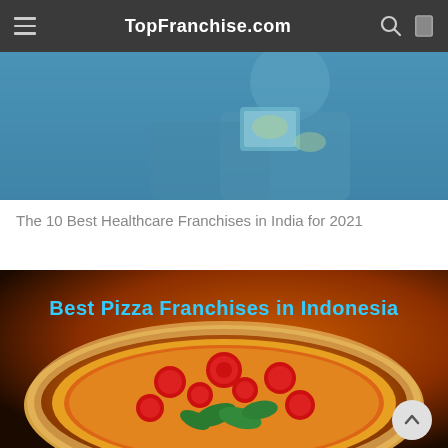TopFranchise.com
[Figure (photo): Medical professionals in blue scrubs, one holding a tablet/clipboard]
The 10 Best Healthcare Franchises in India for 2021
[Figure (photo): Pizza with tomatoes and basil on a dark orange/brown background, with text overlay: Best Pizza Franchises in Indonesia]